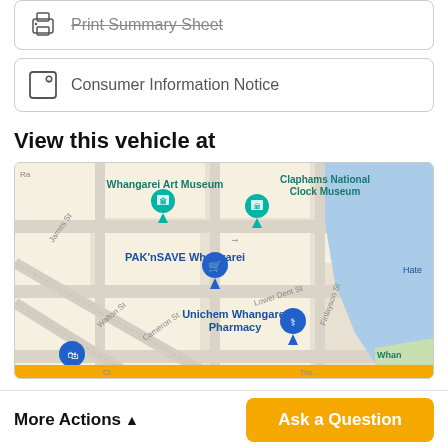[Figure (screenshot): Print Summary Sheet button row with printer icon, partially visible at top]
[Figure (screenshot): Consumer Information Notice button row with document/info icon]
View this vehicle at
[Figure (map): Google Maps screenshot showing Whangarei city centre with landmarks: Whangarei Art Museum, Claphams National Clock Museum, PAK'nSAVE Whangarei, Unichem Whangarei Pharmacy. Streets visible: James St, Walton St, Cameron St, Lower Dent St, Finlayson St. Blue river/harbour on right side.]
More Actions ▲
Ask a Question